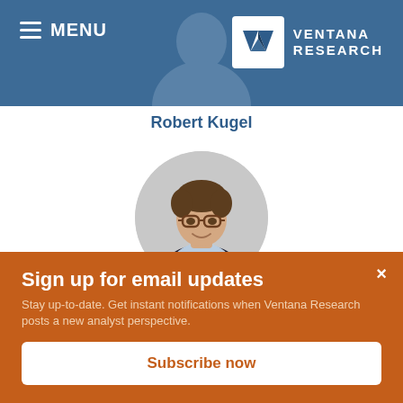[Figure (screenshot): Navigation bar with hamburger menu icon and MENU text on the left, and Ventana Research logo on the right, on a steel blue background. A faded silhouette of a person is visible in the center background.]
Robert Kugel
[Figure (photo): Circular portrait photo of Stephen Hurrell, a man wearing glasses and a dark blazer with a light blue shirt, smiling.]
Stephen Hurrell
Sign up for email updates
Stay up-to-date. Get instant notifications when Ventana Research posts a new analyst perspective.
Subscribe now